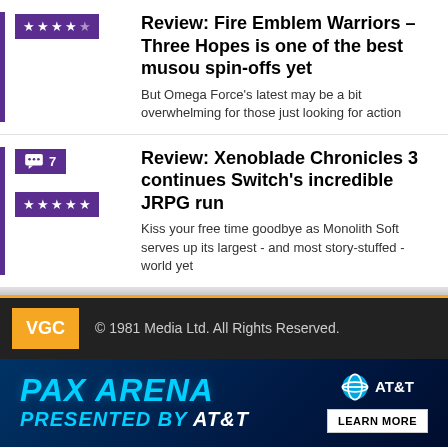Review: Fire Emblem Warriors – Three Hopes is one of the best musou spin-offs yet
But Omega Force's latest may be a bit overwhelming for those just looking for action
Review: Xenoblade Chronicles 3 continues Switch's incredible JRPG run
Kiss your free time goodbye as Monolith Soft serves up its largest - and most story-stuffed - world yet
© 1981 Media Ltd. All Rights Reserved.
[Figure (infographic): PAX ARENA PRESENTED BY AT&T advertisement banner with blue gradient background, AT&T logo and LEARN MORE button]